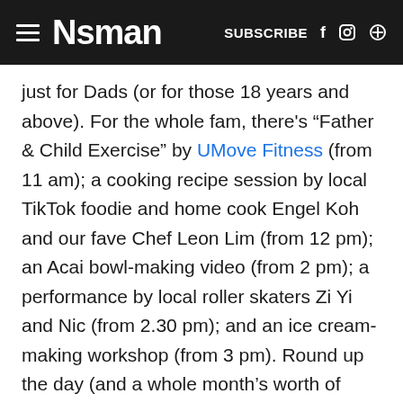NSMAN | SUBSCRIBE
just for Dads (or for those 18 years and above). For the whole fam, there's “Father & Child Exercise” by UMove Fitness (from 11 am); a cooking recipe session by local TikTok foodie and home cook Engel Koh and our fave Chef Leon Lim (from 12 pm); an Acai bowl-making video (from 2 pm); a performance by local roller skaters Zi Yi and Nic (from 2.30 pm); and an ice cream-making workshop (from 3 pm). Round up the day (and a whole month’s worth of #ToDadWithLove activities) by watching a live-stream concert at 8.30pm.
Click here for more information on SAFRA Mount